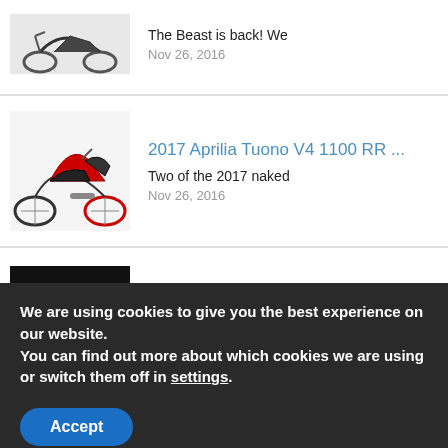[Figure (photo): Motorcycle image (partial, top of page) - dark sport bike]
The Beast is back! We
Nov 26, 2016
[Figure (photo): 2017 Aprilia Tuono V4 1100 RR - red and black sport motorcycle]
2017 Aprilia Tuono V4 1100 RR ...
Two of the 2017 naked
Nov 26, 2016
[Figure (photo): 2018 Suzuki V-Strom 1000 - dark motorcycle with yellow accents, close-up of front]
2018 Suzuki V-Strom 1000 And 1...
The Suzuki motorbike manufacturer has
Nov 26, 2016
We are using cookies to give you the best experience on our website.
You can find out more about which cookies we are using or switch them off in settings.
Accept